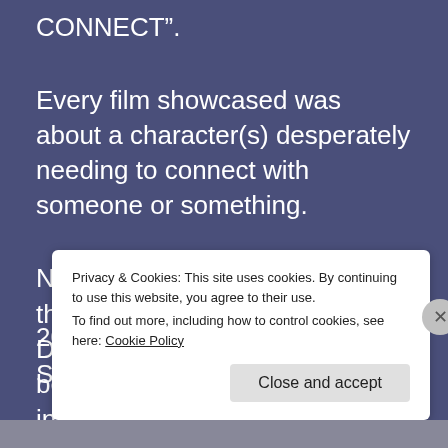CONNECT”.
Every film showcased was about a character(s) desperately needing to connect with someone or something.
NOTE: This was the 2nd festival that was moderated by Kierston Drier. She was terrific and will be moderating 10 more festivals in 2017.
Privacy & Cookies: This site uses cookies. By continuing to use this website, you agree to their use.
To find out more, including how to control cookies, see here: Cookie Policy
Close and accept